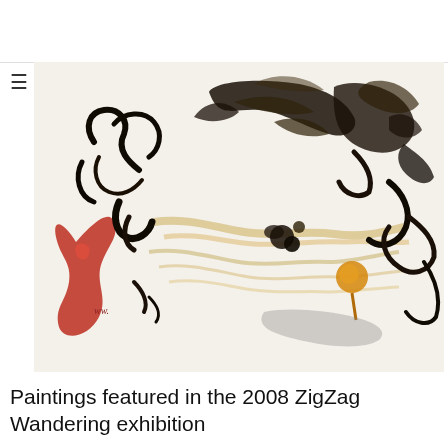[Figure (illustration): Abstract expressionist painting with bold black brushstrokes on white/cream background, featuring a large red/orange organic shape on the left, golden-ochre marks, and dynamic gestural marks in black ink across the canvas. Style reminiscent of mid-20th century abstract expressionism.]
Paintings featured in the 2008 ZigZag Wandering exhibition